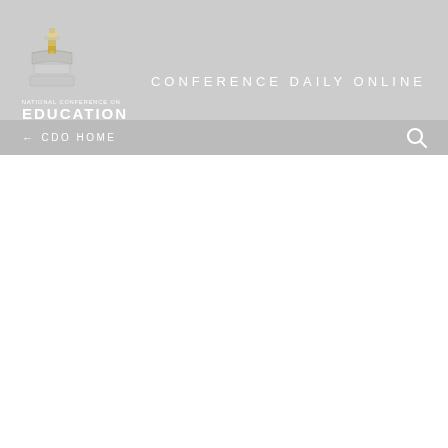[Figure (logo): National Conference on Education logo with stacked books icon above text]
CONFERENCE DAILY ONLINE
← CDO HOME